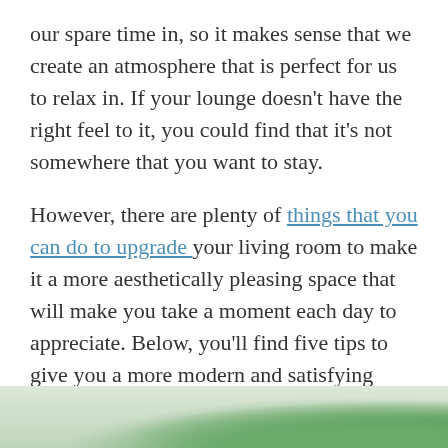our spare time in, so it makes sense that we create an atmosphere that is perfect for us to relax in. If your lounge doesn't have the right feel to it, you could find that it's not somewhere that you want to stay.
However, there are plenty of things that you can do to upgrade your living room to make it a more aesthetically pleasing space that will make you take a moment each day to appreciate. Below, you'll find five tips to give you a more modern and satisfying space that you want to be in.
[Figure (photo): Bottom strip of a photo showing green plants or foliage, partially visible at the bottom of the page.]